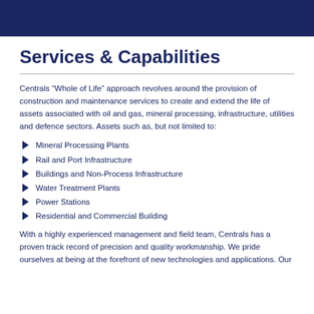Services & Capabilities
Centrals “Whole of Life” approach revolves around the provision of construction and maintenance services to create and extend the life of assets associated with oil and gas, mineral processing, infrastructure, utilities and defence sectors. Assets such as, but not limited to:
Mineral Processing Plants
Rail and Port Infrastructure
Buildings and Non-Process Infrastructure
Water Treatment Plants
Power Stations
Residential and Commercial Building
With a highly experienced management and field team, Centrals has a proven track record of precision and quality workmanship. We pride ourselves at being at the forefront of new technologies and applications. Our